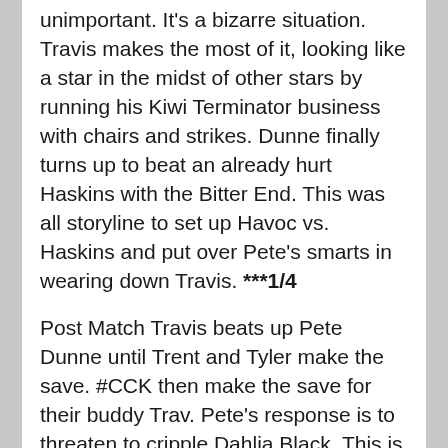unimportant. It's a bizarre situation. Travis makes the most of it, looking like a star in the midst of other stars by running his Kiwi Terminator business with chairs and strikes. Dunne finally turns up to beat an already hurt Haskins with the Bitter End. This was all storyline to set up Havoc vs. Haskins and put over Pete's smarts in wearing down Travis. ***1/4
Post Match Travis beats up Pete Dunne until Trent and Tyler make the save. #CCK then make the save for their buddy Trav. Pete's response is to threaten to cripple Dahlia Black. This is true evil mastermind